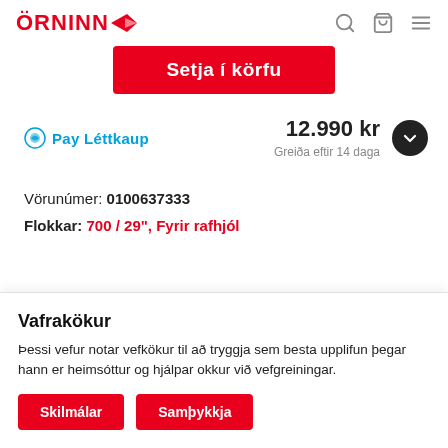ÖRNINN
Setja í körfu
Pay Léttkaup  12.990 kr  Greiða eftir 14 daga
Vörunúmer: 0100637333
Flokkar: 700 / 29", Fyrir rafhjól
Vafrakökur
Þessi vefur notar vefkökur til að tryggja sem besta upplifun þegar hann er heimsóttur og hjálpar okkur við vefgreiningar.
Skilmálar  Samþykkja